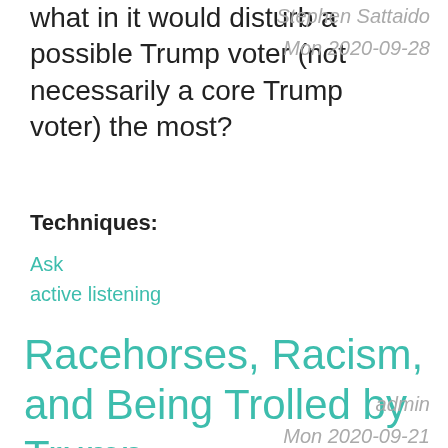what in it would disturb a possible Trump voter (not necessarily a core Trump voter) the most?
Stephen Sattaido
Mon 2020-09-28
Techniques:
Ask
active listening
Racehorses, Racism, and Being Trolled by Trump
admin
Mon 2020-09-21